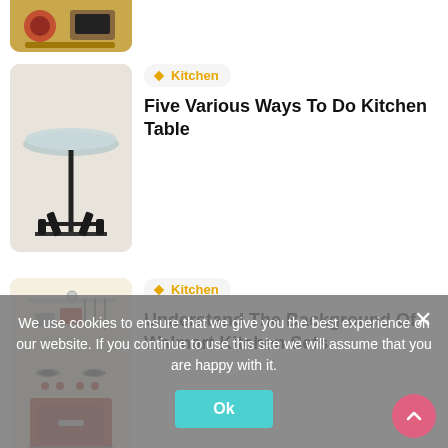[Figure (photo): Partial view of a yellow toy kitchen/boombox at top of page (cropped)]
[Figure (photo): Round glass-top coffee/kitchen table with dark metal legs]
Kitchen
Five Various Ways To Do Kitchen Table
[Figure (photo): Toy wooden play kitchen set with red oven door, cream body, pots and utensils]
Kitchen
Understand The Background Of Walmart Kitchen Sets
[Figure (photo): Dark kitchen appliance, partially visible]
Kitchen
11 Quick Tips For Plan Your Kitchen
We use cookies to ensure that we give you the best experience on our website. If you continue to use this site we will assume that you are happy with it.